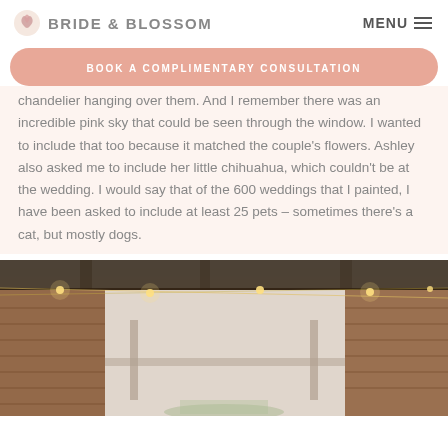BRIDE & BLOSSOM  MENU
BOOK A COMPLIMENTARY CONSULTATION
chandelier hanging over them. And I remember there was an incredible pink sky that could be seen through the window. I wanted to include that too because it matched the couple's flowers. Ashley also asked me to include her little chihuahua, which couldn't be at the wedding. I would say that of the 600 weddings that I painted, I have been asked to include at least 25 pets – sometimes there's a cat, but mostly dogs.
[Figure (photo): A photo of a rustic indoor wedding venue with exposed brick walls, string lights, and hanging lights visible from above, warm amber tones.]